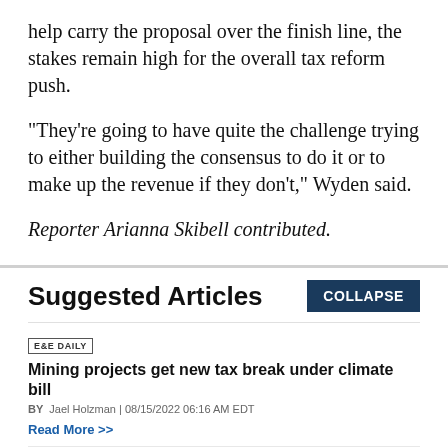help carry the proposal over the finish line, the stakes remain high for the overall tax reform push.
"They’re going to have quite the challenge trying to either building the consensus to do it or to make up the revenue if they don’t," Wyden said.
Reporter Arianna Skibell contributed.
Suggested Articles
E&E DAILY
Mining projects get new tax break under climate bill
BY Jael Holzman | 08/15/2022 06:16 AM EDT
Read More >>
E&E DAILY
'A lot more to do': Lawmakers eye additional climate action